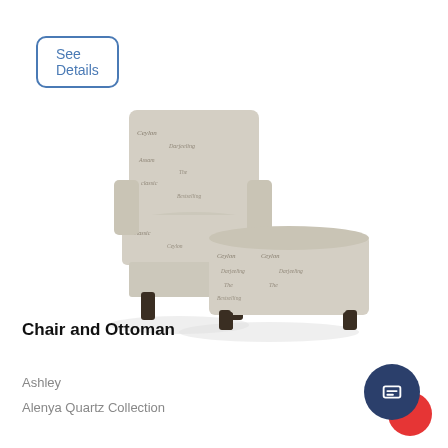See Details
[Figure (photo): A chair and ottoman set upholstered in a cream/beige fabric with dark grey script text pattern (words like Ceylon, Darjeeling visible). The armchair has dark wooden legs and the matching rectangular ottoman is positioned in front of it. Product photo on white background.]
Chair and Ottoman
Ashley
Alenya Quartz Collection